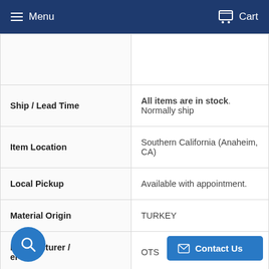Menu  Cart
|  |  |
| Ship / Lead Time | All items are in stock. Normally ship |
| Item Location | Southern California (Anaheim, CA) |
| Local Pickup | Available with appointment. |
| Material Origin | TURKEY |
| Manufacturer / [Supplier] | OTS |